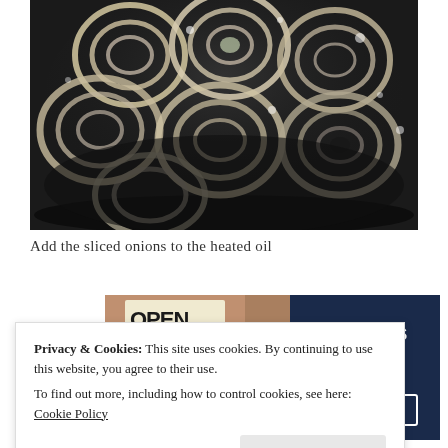[Figure (photo): Close-up photo of sliced onions cooking in heated oil in a dark pan, showing rings of onions with steam/moisture]
Add the sliced onions to the heated oil
[Figure (photo): Advertisement banner showing a person holding an 'OPEN' sign on the left and dark blue background with text 'THAT MEANS BUSINESS.' and 'LEARN MORE' button on the right]
Privacy & Cookies: This site uses cookies. By continuing to use this website, you agree to their use.
To find out more, including how to control cookies, see here: Cookie Policy
Close and accept